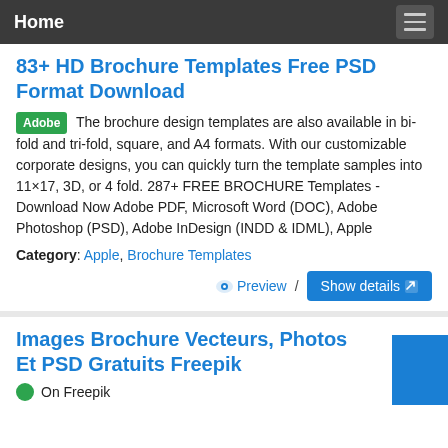Home
83+ HD Brochure Templates Free PSD Format Download
The brochure design templates are also available in bi-fold and tri-fold, square, and A4 formats. With our customizable corporate designs, you can quickly turn the template samples into 11×17, 3D, or 4 fold. 287+ FREE BROCHURE Templates - Download Now Adobe PDF, Microsoft Word (DOC), Adobe Photoshop (PSD), Adobe InDesign (INDD & IDML), Apple
Category: Apple, Brochure Templates
Preview / Show details
Images Brochure Vecteurs, Photos Et PSD Gratuits Freepik
On Freepik...